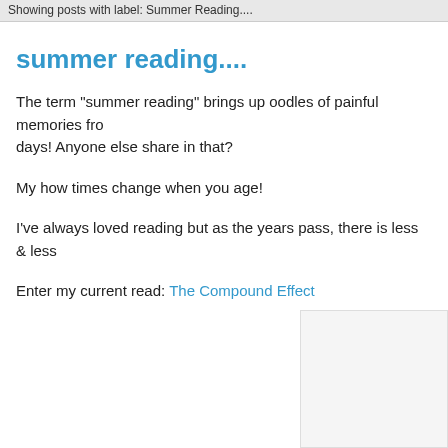Showing posts with label: Summer Reading....
summer reading....
The term "summer reading" brings up oodles of painful memories from my school days! Anyone else share in that?
My how times change when you age!
I've always loved reading but as the years pass, there is less & less
Enter my current read: The Compound Effect
[Figure (other): Image placeholder box, partially visible on right side of page]